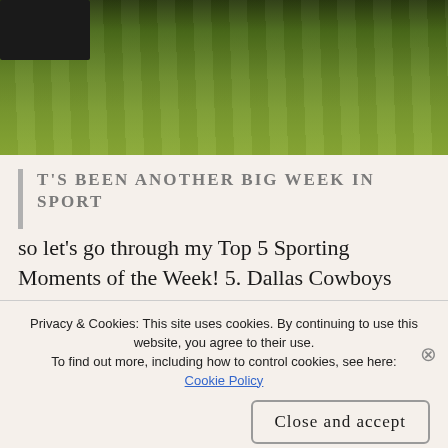[Figure (photo): Green grass field with a dark figure (player/equipment) visible in the upper left corner]
T'S BEEN ANOTHER BIG WEEK IN SPORT
so let's go through my Top 5 Sporting Moments of the Week! 5. Dallas Cowboys quarterback, Dak Prescott, was carted off the field after suffering a horrific ankle injury during a tackle. In the third quarter of the Cowboys game against the New York
Privacy & Cookies: This site uses cookies. By continuing to use this website, you agree to their use. To find out more, including how to control cookies, see here: Cookie Policy
Close and accept